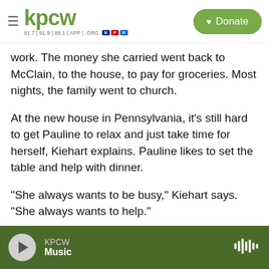KPCW — Donate
work. The money she carried went back to McClain, to the house, to pay for groceries. Most nights, the family went to church.
At the new house in Pennsylvania, it's still hard to get Pauline to relax and just take time for herself, Kiehart explains. Pauline likes to set the table and help with dinner.
"She always wants to be busy," Kiehart says. "She always wants to help."
Part of that, Kiehart explains — and Pauline agrees — is that Pauline stayed busy doing chores at the
KPCW Music